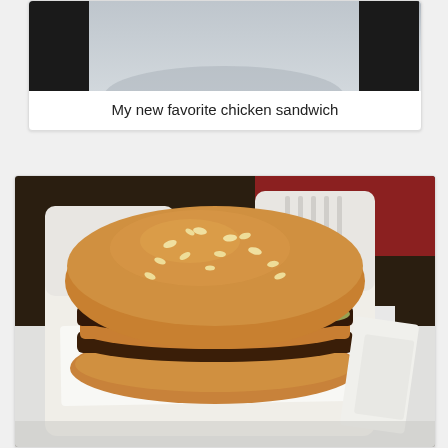[Figure (photo): Partial top photo of what appears to be a chicken sandwich or similar food item, cropped at the top of the page]
My new favorite chicken sandwich
[Figure (photo): Photo of a large burger (resembling a Big Mac style burger) in a white styrofoam clamshell container, sitting on a white paper-lined dark tray, with a red wall visible in the background]